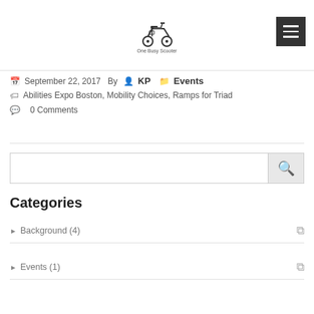[Figure (logo): One Busy Scooter logo with a scooter/mobility device illustration and text 'One Busy Scooter' below]
September 22, 2017  By  KP   Events
Abilities Expo Boston, Mobility Choices, Ramps for Triad
0 Comments
Categories
Background (4)
Events (1)